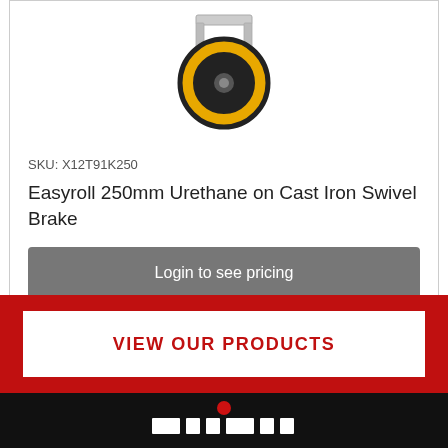[Figure (photo): Yellow and black urethane on cast iron swivel brake caster wheel, top portion visible]
SKU: X12T91K250
Easyroll 250mm Urethane on Cast Iron Swivel Brake
Login to see pricing
VIEW OUR PRODUCTS
[Figure (logo): White company logo on black background footer strip]